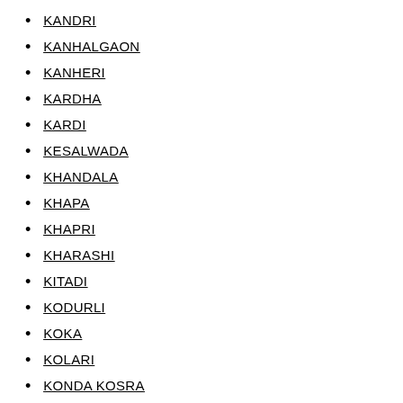KANDRI
KANHALGAON
KANHERI
KARDHA
KARDI
KESALWADA
KHANDALA
KHAPA
KHAPRI
KHARASHI
KITADI
KODURLI
KOKA
KOLARI
KONDA KOSRA